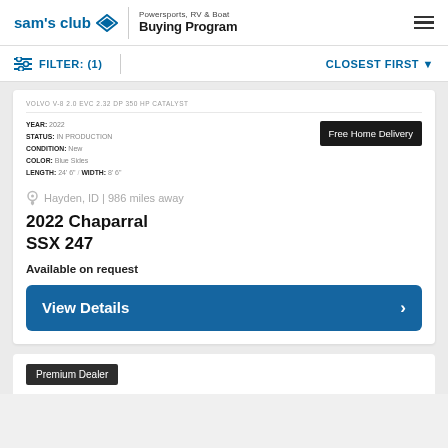sam's club ◇ | Powersports, RV & Boat Buying Program
FILTER: (1) | CLOSEST FIRST ▼
VOLVO V-8 2.0 EVC 2.32 DP 350 HP CATALYST
YEAR: 2022  STATUS: IN PRODUCTION  CONDITION: New  COLOR: Blue Sides  LENGTH: 24'6"  /  WIDTH: 8'6"
Free Home Delivery
Hayden, ID | 986 miles away
2022 Chaparral SSX 247
Available on request
View Details >
Premium Dealer